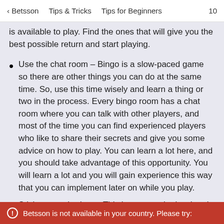< Betsson    Tips & Tricks    Tips for Beginners    10
is available to play. Find the ones that will give you the best possible return and start playing.
Use the chat room – Bingo is a slow-paced game so there are other things you can do at the same time. So, use this time wisely and learn a thing or two in the process. Every bingo room has a chat room where you can talk with other players, and most of the time you can find experienced players who like to share their secrets and give you some advice on how to play. You can learn a lot here, and you should take advantage of this opportunity. You will learn a lot and you will gain experience this way that you can implement later on while you play.
Stick to your budget – This is a general rule when it comes to gambling, and not to say the
Betsson is not available in your country. Please try: